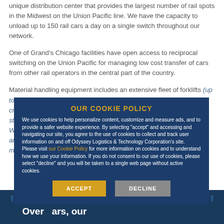serving the class I rail companies. Our Northlake facility is a unique distribution center that provides the largest number of rail spots in the Midwest on the Union Pacific line. We have the capacity to unload up to 150 rail cars a day on a single switch throughout our network.
One of Grand's Chicago facilities have open access to reciprocal switching on the Union Pacific for managing low cost transfer of cars from other rail operators in the central part of the country.
Material handling equipment includes an extensive fleet of forklifts (up to 15,500 lbs. capacity), slip sheet attachments, pallet stackers, cranes, conveyor systems and Industrial Engineering that provides state-of-the-art Inventory Control, Handling and Distribution. Grand Worldwide operates food grade distribution centers. Currently holds and maintains the Safe Quality Food (SQF) and AIB certifications.
OUR COOKIE POLICY
We use cookies to help personalize content, customize and measure ads, and to provide a safer website experience. By selecting "accept" and accessing and navigating our site, you agree to the use of cookies to collect and track user information on and off Odyssey Logistics & Technology Corporation's site. Please visit our Cookie Policy for more information on cookies and to understand how we use your information. If you do not consent to our use of cookies, please select "decline" and you will be taken to a single web page without active cookies.
Over [years], our [quote continues]